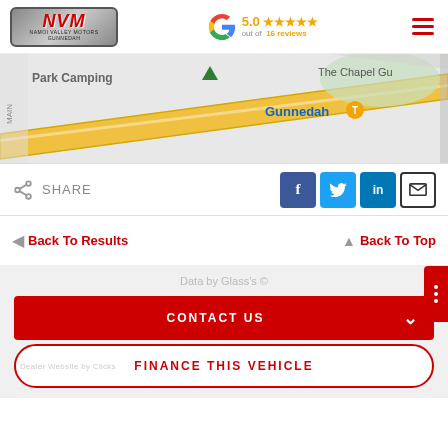[Figure (logo): Namoi Valley Motors Gunnedah logo with NVM text in red on metallic background, bordered rectangle]
5.0 ★★★★★ out of 16 reviews
[Figure (map): Google Maps snippet showing Gunnedah area with road and Park Camping label, The Chapel Gu label, and Gunnedah marker]
SHARE
[Figure (infographic): Social share buttons: Facebook (f), Twitter (bird), LinkedIn (in), Email (envelope)]
Back To Results
Back To Top
Data by Glass's ©
CONTACT US
FINANCE THIS VEHICLE